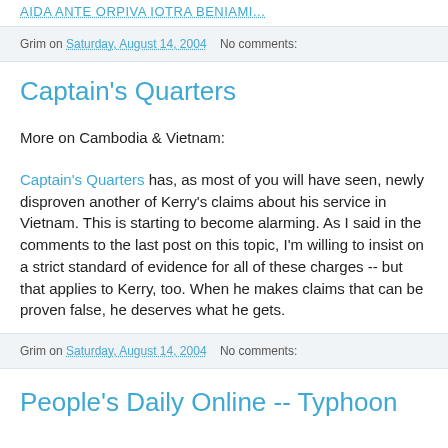AIDA ANTE ORPIVA IOTRA BENIAMI...
Grim on Saturday, August 14, 2004   No comments:
Captain's Quarters
More on Cambodia & Vietnam:
Captain's Quarters has, as most of you will have seen, newly disproven another of Kerry's claims about his service in Vietnam. This is starting to become alarming. As I said in the comments to the last post on this topic, I'm willing to insist on a strict standard of evidence for all of these charges -- but that applies to Kerry, too. When he makes claims that can be proven false, he deserves what he gets.
Grim on Saturday, August 14, 2004   No comments:
People's Daily Online -- Typhoon